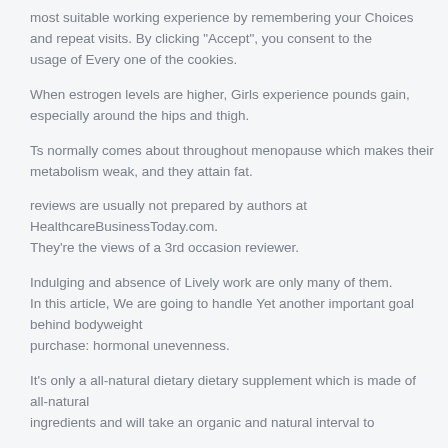most suitable working experience by remembering your Choices and repeat visits. By clicking "Accept", you consent to the usage of Every one of the cookies.
When estrogen levels are higher, Girls experience pounds gain, especially around the hips and thigh.
Ts normally comes about throughout menopause which makes their metabolism weak, and they attain fat.
reviews are usually not prepared by authors at HealthcareBusinessToday.com.
They're the views of a 3rd occasion reviewer.
Indulging and absence of Lively work are only many of them.
In this article, We are going to handle Yet another important goal behind bodyweight purchase: hormonal unevenness.
It's only a all-natural dietary dietary supplement which is made of all-natural ingredients and will take an organic and natural interval to